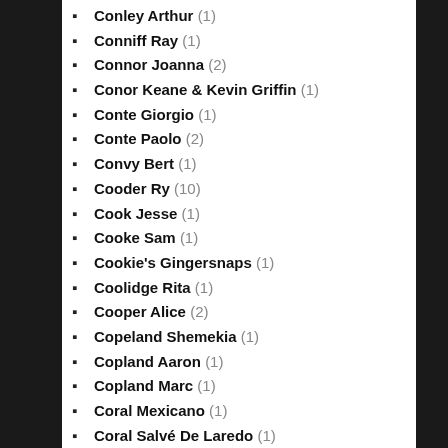Conley Arthur (1)
Conniff Ray (1)
Connor Joanna (2)
Conor Keane & Kevin Griffin (1)
Conte Giorgio (1)
Conte Paolo (2)
Convy Bert (1)
Cooder Ry (10)
Cook Jesse (1)
Cooke Sam (1)
Cookie's Gingersnaps (1)
Coolidge Rita (1)
Cooper Alice (2)
Copeland Shemekia (1)
Copland Aaron (1)
Copland Marc (1)
Coral Mexicano (1)
Coral Salvé De Laredo (1)
Cording Henry (1)
Cordy Annie (1)
Corea Chick (5)
Corelli Arcangello (2)